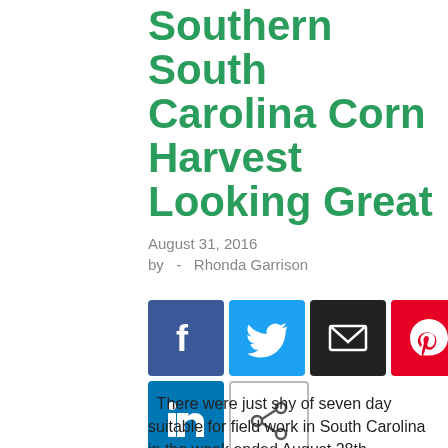Southern South Carolina Corn Harvest Looking Great
August 31, 2016
by  -  Rhonda Garrison
[Figure (other): Social media sharing icons: Facebook, Twitter, Email, Pinterest, LinkedIn, Share]
There were just shy of seven day suitable for field work in South Carolina in the week ended August 28th.